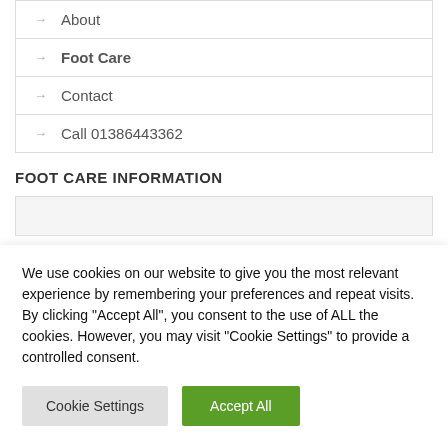About
Foot Care
Contact
Call 01386443362
FOOT CARE INFORMATION
We use cookies on our website to give you the most relevant experience by remembering your preferences and repeat visits. By clicking “Accept All”, you consent to the use of ALL the cookies. However, you may visit "Cookie Settings" to provide a controlled consent.